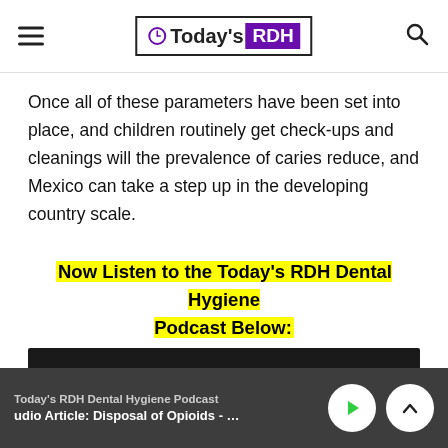Today's RDH
Once all of these parameters have been set into place, and children routinely get check-ups and cleanings will the prevalence of caries reduce, and Mexico can take a step up in the developing country scale.
Now Listen to the Today's RDH Dental Hygiene Podcast Below:
[Figure (other): Podcast audio player embed (dark/black background)]
Today's RDH Dental Hygiene Podcast | udio Article: Disposal of Opioids - How Hygien